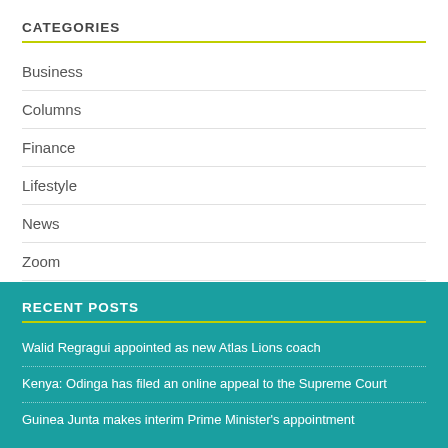CATEGORIES
Business
Columns
Finance
Lifestyle
News
Zoom
RECENT POSTS
Walid Regragui appointed as new Atlas Lions coach
Kenya: Odinga has filed an online appeal to the Supreme Court
Guinea Junta makes interim Prime Minister's appointment